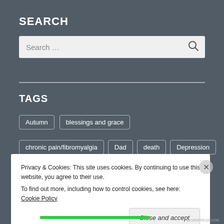SEARCH
[Figure (screenshot): Search input box with placeholder text 'Search ...' and a magnifying glass icon]
TAGS
Autumn
blessings and grace
chronic pain/fibromyalgia
Dad
death
Depression
Privacy & Cookies: This site uses cookies. By continuing to use this website, you agree to their use.
To find out more, including how to control cookies, see here: Cookie Policy
Close and accept